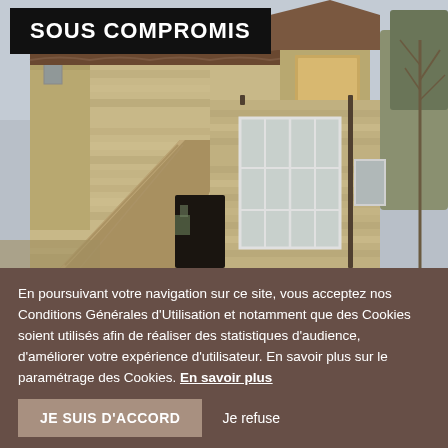[Figure (photo): Exterior photo of an old stone farmhouse/building with tile roof and white-framed windows, bare trees visible, overcast sky. A black banner reading 'SOUS COMPROMIS' overlays the top-left of the image.]
En poursuivant votre navigation sur ce site, vous acceptez nos Conditions Générales d'Utilisation et notamment que des Cookies soient utilisés afin de réaliser des statistiques d'audience, d'améliorer votre expérience d'utilisateur. En savoir plus sur le paramétrage des Cookies. En savoir plus
JE SUIS D'ACCORD
Je refuse